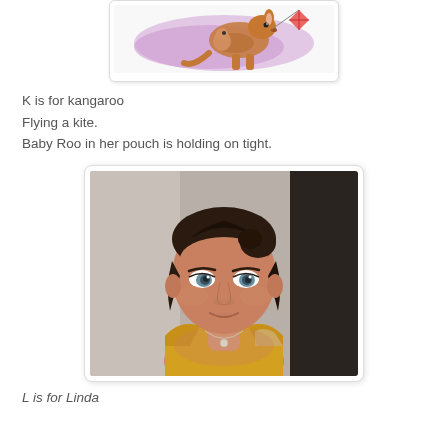[Figure (illustration): Partial view of a children's illustration of a kangaroo flying a kite, with purple and orange colors, cropped at top of page]
K is for kangaroo
Flying a kite.
Baby Roo in her pouch is holding on tight.
[Figure (photo): Portrait photograph of a woman with dark hair pulled back, wearing a yellow top and a delicate necklace, looking at the camera with a slight smile]
L is for Linda